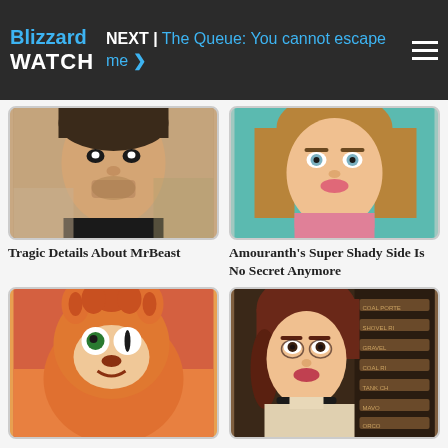Blizzard WATCH — NEXT | The Queue: You cannot escape me
[Figure (photo): Young man with beard and dark hair, photo thumbnail for MrBeast article]
[Figure (photo): Young woman with long brown hair and blue eyes, photo thumbnail for Amouranth article]
Tragic Details About MrBeast
Amouranth's Super Shady Side Is No Secret Anymore
[Figure (photo): Animated orange cartoon character with horns, from a video game]
[Figure (photo): Animated female game character with brown hair and a choker necklace in a store setting]